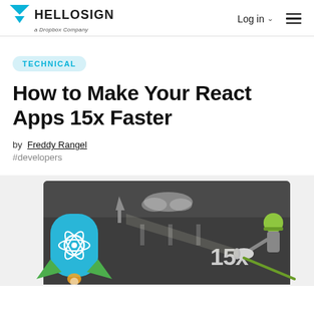HELLOSIGN a Dropbox Company | Log in | Menu
TECHNICAL
How to Make Your React Apps 15x Faster
by Freddy Rangel
#developers
[Figure (illustration): Hero illustration showing a React logo rocket and a figure with a flashlight/spotlight, with '15x' text on a dark road/track background]